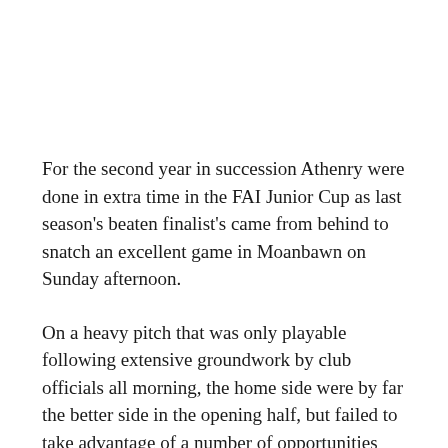For the second year in succession Athenry were done in extra time in the FAI Junior Cup as last season's beaten finalist's came from behind to snatch an excellent game in Moanbawn on Sunday afternoon.
On a heavy pitch that was only playable following extensive groundwork by club officials all morning, the home side were by far the better side in the opening half, but failed to take advantage of a number of opportunities that came their way.
An Alan O'Donovan penalty gave them a merited advantage just after the restart, but thereafter were on